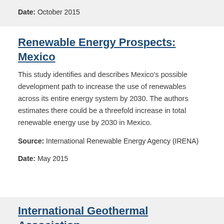Date: October 2015
Renewable Energy Prospects: Mexico
This study identifies and describes Mexico's possible development path to increase the use of renewables across its entire energy system by 2030. The authors estimates there could be a threefold increase in total renewable energy use by 2030 in Mexico.
Source: International Renewable Energy Agency (IRENA)
Date: May 2015
International Geothermal Association